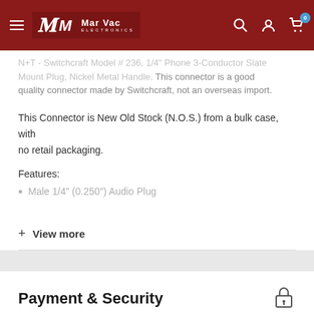Mar Vac Electronics - header navigation
...Switchcraft Model # 236, 1/4" Phone 3-Conductor Slate Mount Plug, Nickel Metal Handle. This connector is a good quality connector made by Switchcraft, not an overseas import.
This Connector is New Old Stock (N.O.S.) from a bulk case, with no retail packaging.
Features:
Male 1/4" (0.250") Audio Plug
+ View more
Payment & Security